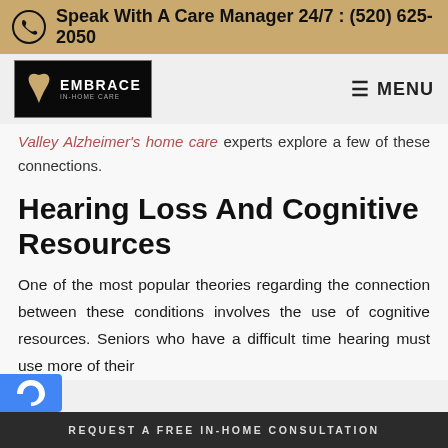Speak With A Care Manager 24/7 : (520) 625-2050
[Figure (logo): Embrace In-Home Care logo — black box with gold heart and white text EMBRACE IN-HOME CARE]
MENU
Valley Alzheimer's home care experts explore a few of these connections.
Hearing Loss And Cognitive Resources
One of the most popular theories regarding the connection between these conditions involves the use of cognitive resources. Seniors who have a difficult time hearing must use more of their
REQUEST A FREE IN-HOME CONSULTATION